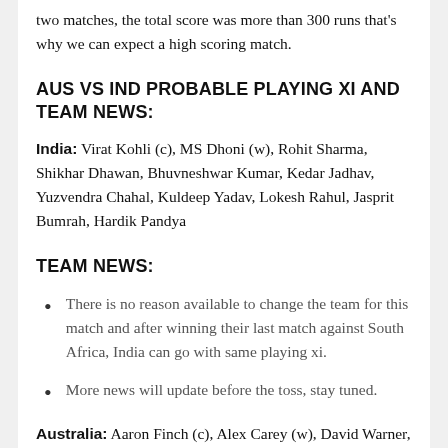two matches, the total score was more than 300 runs that's why we can expect a high scoring match.
AUS VS IND PROBABLE PLAYING XI AND TEAM NEWS:
India: Virat Kohli (c), MS Dhoni (w), Rohit Sharma, Shikhar Dhawan, Bhuvneshwar Kumar, Kedar Jadhav, Yuzvendra Chahal, Kuldeep Yadav, Lokesh Rahul, Jasprit Bumrah, Hardik Pandya
TEAM NEWS:
There is no reason available to change the team for this match and after winning their last match against South Africa, India can go with same playing xi.
More news will update before the toss, stay tuned.
Australia: Aaron Finch (c), Alex Carey (w), David Warner, Steven Smith, Usman Khawaja, Glenn Maxwell